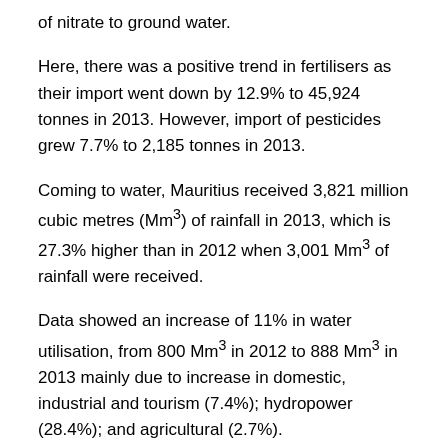of nitrate to ground water.
Here, there was a positive trend in fertilisers as their import went down by 12.9% to 45,924 tonnes in 2013. However, import of pesticides grew 7.7% to 2,185 tonnes in 2013.
Coming to water, Mauritius received 3,821 million cubic metres (Mm³) of rainfall in 2013, which is 27.3% higher than in 2012 when 3,001 Mm³ of rainfall were received.
Data showed an increase of 11% in water utilisation, from 800 Mm³ in 2012 to 888 Mm³ in 2013 mainly due to increase in domestic, industrial and tourism (7.4%); hydropower (28.4%); and agricultural (2.7%).